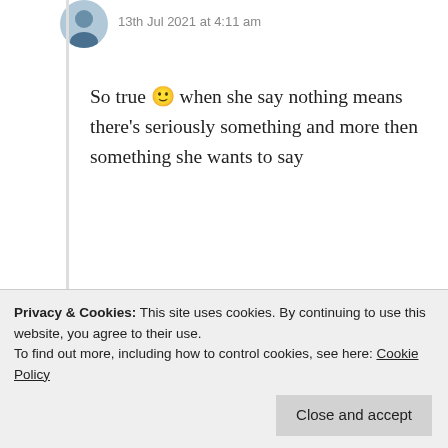13th Jul 2021 at 4:11 am
So true 🙂 when she say nothing means there's seriously something and more then something she wants to say
★ Liked by 1 person
Log in to Reply
your commenting 😸🙏
Privacy & Cookies: This site uses cookies. By continuing to use this website, you agree to their use.
To find out more, including how to control cookies, see here: Cookie Policy
Close and accept